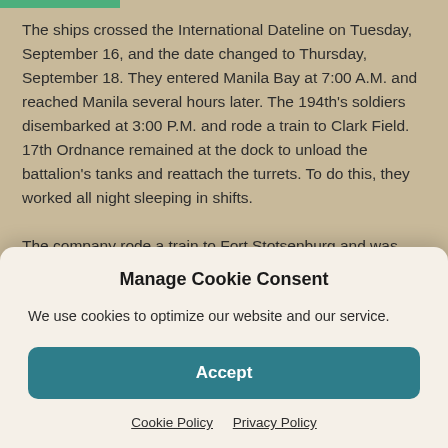The ships crossed the International Dateline on Tuesday, September 16, and the date changed to Thursday, September 18. They entered Manila Bay at 7:00 A.M. and reached Manila several hours later. The 194th's soldiers disembarked at 3:00 P.M. and rode a train to Clark Field. 17th Ordnance remained at the dock to unload the battalion's tanks and reattach the turrets. To do this, they worked all night sleeping in shifts.

The company rode a train to Fort Stotsenburg and was taken to an area between the fort and Clark Field, where
Manage Cookie Consent
We use cookies to optimize our website and our service.
Accept
Cookie Policy   Privacy Policy